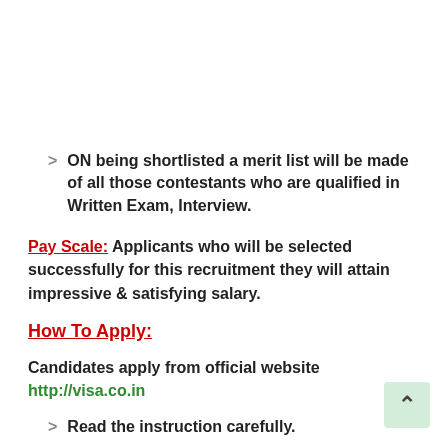> ON being shortlisted a merit list will be made of all those contestants who are qualified in Written Exam, Interview.
Pay Scale: Applicants who will be selected successfully for this recruitment they will attain impressive & satisfying salary.
How To Apply:
Candidates apply from official website http://visa.co.in
> Read the instruction carefully.
> Fill The advice carefully.
> Attach The required documents .